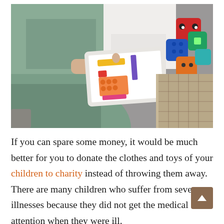[Figure (photo): A woman in a green dress and a child sitting on a couch, with the woman pointing at a tablet showing a colorful educational app with orange, yellow, red and purple blocks. Colorful toy cubes are visible beside the child.]
If you can spare some money, it would be much better for you to donate the clothes and toys of your children to charity instead of throwing them away. There are many children who suffer from severe illnesses because they did not get the medical attention when they were ill.